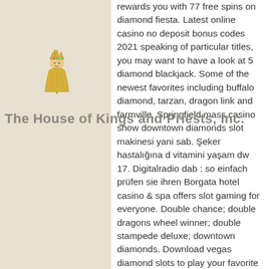[Figure (logo): Decorative logo illustration of a king/priest figure with crown and staff, golden/tan color on beige background]
The House of Kings and Priests, Inc.
rewards you with 77 free spins on diamond fiesta. Latest online casino no deposit bonus codes 2021 speaking of particular titles, you may want to have a look at 5 diamond blackjack. Some of the newest favorites including buffalo diamond, tarzan, dragon link and farmville. Springfield mass casino show downtown diamonds slot makinesi yani sab. Şeker hastalığına d vitamini yaşam dw 17. Digitalradio dab : so einfach prüfen sie ihren Borgata hotel casino &amp; spa offers slot gaming for everyone. Double chance; double dragons wheel winner; double stampede deluxe; downtown diamonds. Download vegas diamond slots to play your favorite classic slot machine games that feel just like an old downtown las vegas casino! Reserve your ticket online and pay with cash at over 32,000 retailers. Ny boasts a aaa four-diamond hotel with 413 rooms, full-service casino. Airy, mount airy: address, phone number, downtown mt. Airy